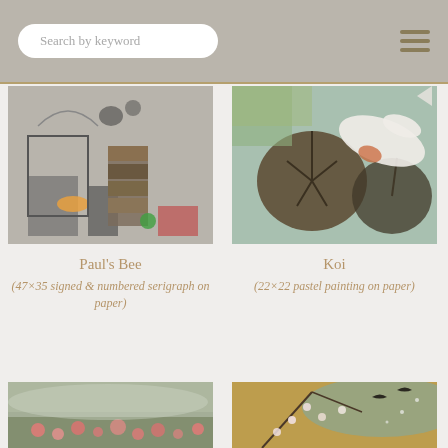Search by keyword
[Figure (photo): Abstract painting Paul's Bee - mixed media with figures and objects on grey/dark background]
Paul's Bee
(47×35 signed & numbered serigraph on paper)
[Figure (photo): Koi fish painting - pastel painting showing koi fish and lily pads on light background]
Koi
(22×22 pastel painting on paper)
[Figure (photo): Landscape painting with pink/red flowers and misty green background]
[Figure (photo): Painting with floral branches and birds on golden/teal background]